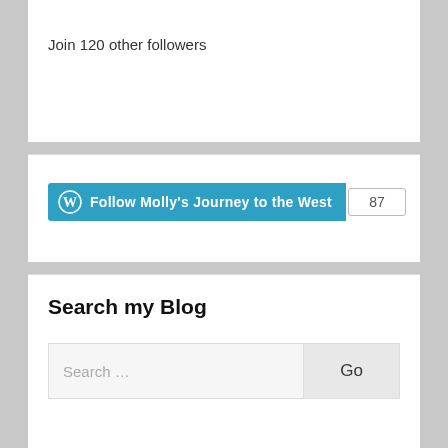Join 120 other followers
[Figure (screenshot): WordPress Follow button for 'Follow Molly's Journey to the West' with count badge showing 87]
Search my Blog
Search …
Go
Top Posts & Pages
Munich: A Short Visit to Dachau Concentration Camp and Memorial Site
Prague: Beer, CouchSurfing.com, and an Impromptu Kayaking Trip
Seattle: Pike's Place Market, Lincoln Park, and the San Juan Islands